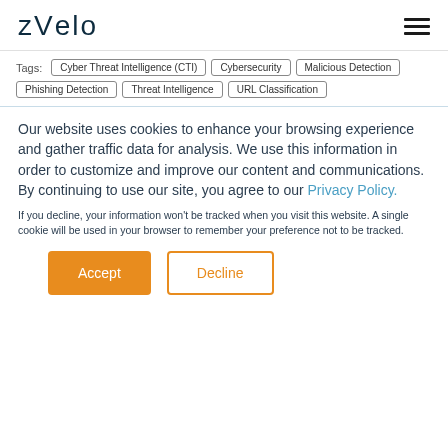zvelo
Tags: Cyber Threat Intelligence (CTI)  Cybersecurity  Malicious Detection  Phishing Detection  Threat Intelligence  URL Classification
Our website uses cookies to enhance your browsing experience and gather traffic data for analysis. We use this information in order to customize and improve our content and communications. By continuing to use our site, you agree to our Privacy Policy.
If you decline, your information won't be tracked when you visit this website. A single cookie will be used in your browser to remember your preference not to be tracked.
Accept  Decline